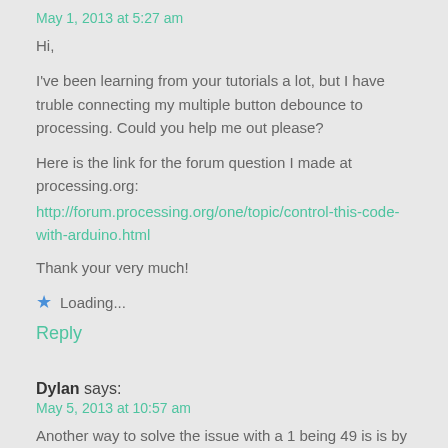May 1, 2013 at 5:27 am
Hi,
I've been learning from your tutorials a lot, but I have truble connecting my multiple button debounce to processing. Could you help me out please?
Here is the link for the forum question I made at processing.org:
http://forum.processing.org/one/topic/control-this-code-with-arduino.html
Thank your very much!
★ Loading...
Reply
Dylan says:
May 5, 2013 at 10:57 am
Another way to solve the issue with a 1 being 49 is is by changing int to char. This also works with letters as well and all characters I think